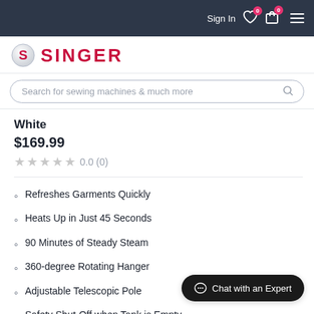Sign In | Wishlist 0 | Cart 0 | Menu
[Figure (logo): Singer brand logo with red S circle and SINGER text in red]
Search for sewing machines & much more
White
$169.99
0.0 (0)
Refreshes Garments Quickly
Heats Up in Just 45 Seconds
90 Minutes of Steady Steam
360-degree Rotating Hanger
Adjustable Telescopic Pole
Safety Shut-Off when Tank is Empty
Chat with an Expert